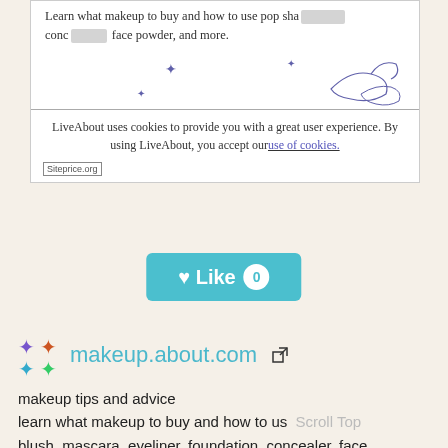[Figure (screenshot): Screenshot of LiveAbout/makeup.about.com page showing cookie consent banner and partial text about makeup tips. Siteprice.org watermark visible.]
[Figure (other): Teal 'Like 0' button with heart icon and white badge showing 0]
makeup.about.com
makeup tips and advice
learn what makeup to buy and how to us   Scroll Top
blush, mascara, eyeliner, foundation, concealer, face powder, and more.
Facebook ♡: 11    Website Worth: $ 61,300
Categories: Fashion/Beauty, Reference